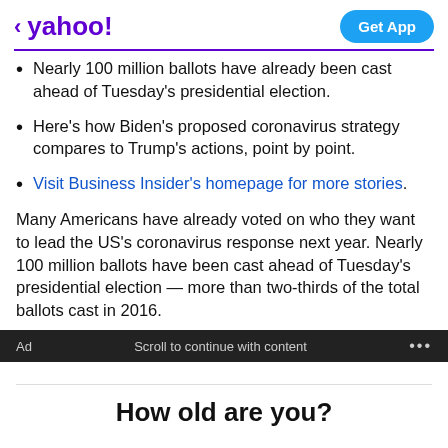yahoo! Get App
Nearly 100 million ballots have already been cast ahead of Tuesday's presidential election.
Here's how Biden's proposed coronavirus strategy compares to Trump's actions, point by point.
Visit Business Insider's homepage for more stories.
Many Americans have already voted on who they want to lead the US's coronavirus response next year. Nearly 100 million ballots have been cast ahead of Tuesday's presidential election — more than two-thirds of the total ballots cast in 2016.
Ad   Scroll to continue with content   ...
How old are you?